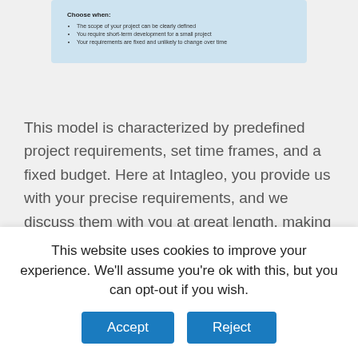[Figure (screenshot): Blue info box with 'Choose when:' heading and three bullet points about project scope, short-term development, and fixed requirements]
This model is characterized by predefined project requirements, set time frames, and a fixed budget. Here at Intagleo, you provide us with your precise requirements, and we discuss them with you at great length, making sure no vital detail slips through the cracks. After carefully scoping your needs, we then get back to you with a proposal, detailing the
This website uses cookies to improve your experience. We'll assume you're ok with this, but you can opt-out if you wish.
Accept
Reject